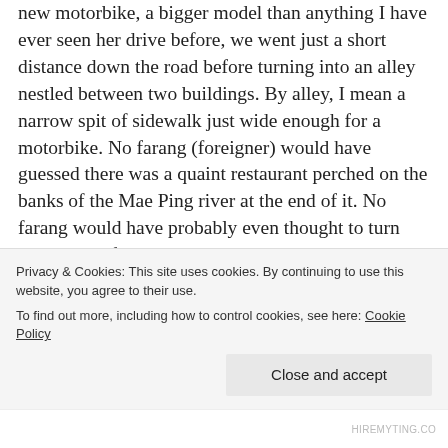new motorbike, a bigger model than anything I have ever seen her drive before, we went just a short distance down the road before turning into an alley nestled between two buildings. By alley, I mean a narrow spit of sidewalk just wide enough for a motorbike. No farang (foreigner) would have guessed there was a quaint restaurant perched on the banks of the Mae Ping river at the end of it. No farang would have probably even thought to turn there in the first place. We picked a table under a tree literally at the edge of the river bank. Any more erosion and
Privacy & Cookies: This site uses cookies. By continuing to use this website, you agree to their use.
To find out more, including how to control cookies, see here: Cookie Policy
Close and accept
HIREMYTING.CO